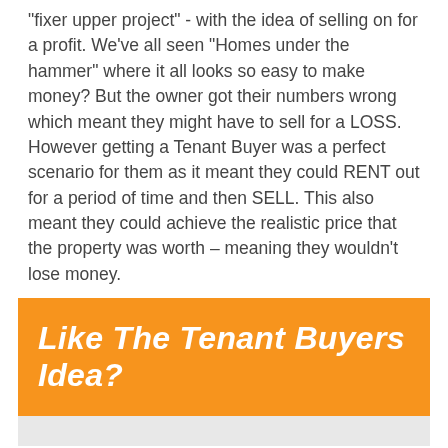"fixer upper project" - with the idea of selling on for a profit. We've all seen “Homes under the hammer” where it all looks so easy to make money? But the owner got their numbers wrong which meant they might have to sell for a LOSS. However getting a Tenant Buyer was a perfect scenario for them as it meant they could RENT out for a period of time and then SELL. This also meant they could achieve the realistic price that the property was worth – meaning they wouldn't lose money.
Like The Tenant Buyers Idea?